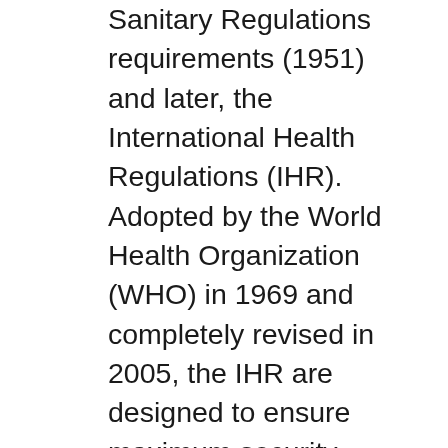Sanitary Regulations requirements (1951) and later, the International Health Regulations (IHR). Adopted by the World Health Organization (WHO) in 1969 and completely revised in 2005, the IHR are designed to ensure maximum security against the international spread of diseases, with minimum interference with world travel and commerce. A copy of the current IHR and supporting information can be found on the WHO website (www.who.int/csr/ihr/en).
In addition to reporting public health events of international concern, the United States must also inform the public about health requirements for entering or leaving other countries, such as the need to be vaccinated against yellow fever. The Yellow Book and the CDC Travelers' Health website aim to